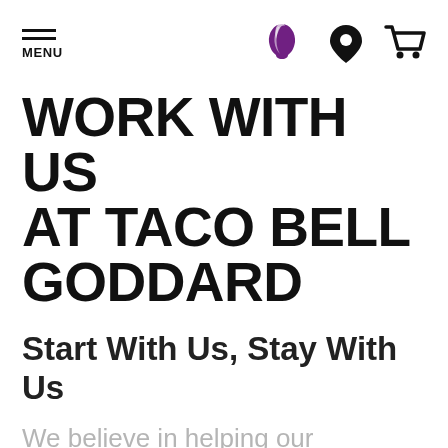MENU | [Taco Bell logo] | [Location icon] | [Cart icon]
WORK WITH US AT TACO BELL GODDARD
Start With Us, Stay With Us
We believe in helping our